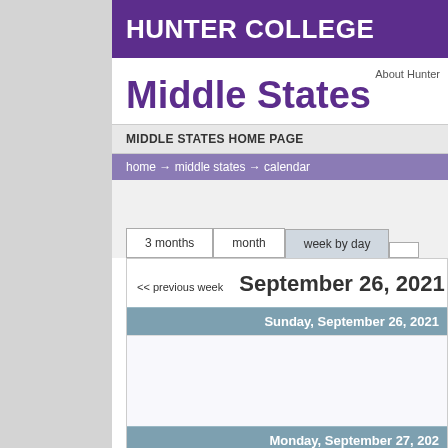HUNTER COLLEGE
About Hunter
Middle States
MIDDLE STATES HOME PAGE
home → middle states → calendar
3 months | month | week by day
<< previous week  September 26, 2021 - October
Sunday, September 26, 2021
Monday, September 27, 202